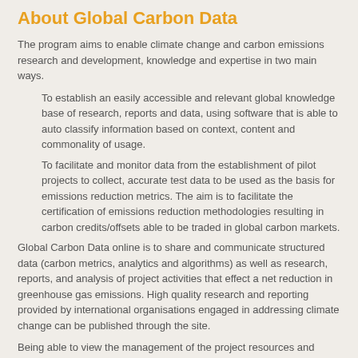About Global Carbon Data
The program aims to enable climate change and carbon emissions research and development, knowledge and expertise in two main ways.
To establish an easily accessible and relevant global knowledge base of research, reports and data, using software that is able to auto classify information based on context, content and commonality of usage.
To facilitate and monitor data from the establishment of pilot projects to collect, accurate test data to be used as the basis for emissions reduction metrics. The aim is to facilitate the certification of emissions reduction methodologies resulting in carbon credits/offsets able to be traded in global carbon markets.
Global Carbon Data online is to share and communicate structured data (carbon metrics, analytics and algorithms) as well as research, reports, and analysis of project activities that effect a net reduction in greenhouse gas emissions. High quality research and reporting provided by international organisations engaged in addressing climate change can be published through the site.
Being able to view the management of the project resources and scheduling directly from a task perspective is useful, particularly if the production of data is also linked directly to delivery of the capabilities that facilitate the business scenarios.
Data is becoming increasingly important, in view of advances in cloud security, big data analytics and the proliferation of information gathered from IIOT devices.